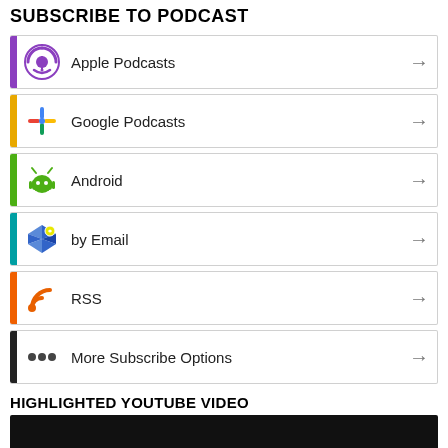SUBSCRIBE TO PODCAST
Apple Podcasts
Google Podcasts
Android
by Email
RSS
More Subscribe Options
HIGHLIGHTED YOUTUBE VIDEO
[Figure (photo): Dark YouTube video thumbnail]